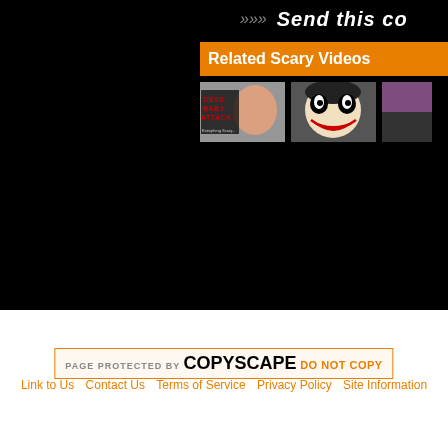Send this co...
Related Scary Videos
[Figure (photo): Three video thumbnails: Devil Baby Attack, scary clown face, and a third partially visible thumbnail]
Rate This Scary S
[Figure (other): Copyscape badge: PAGE PROTECTED BY COPYSCAPE DO NOT COPY]
Link to Us   Contact Us   Terms of Service   Privacy Policy   Site Information